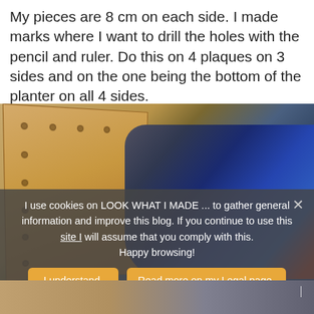My pieces are 8 cm on each side. I made marks where I want to drill the holes with the pencil and ruler. Do this on 4 plaques on 3 sides and on the one being the bottom of the planter on all 4 sides.
[Figure (photo): A wooden plaque/board with hole marks being drilled with a blue electric drill/screwdriver. The wood is tan/golden colored and the drill bit is touching the board.]
I use cookies on LOOK WHAT I MADE ... to gather general information and improve this blog. If you continue to use this site I will assume that you comply with this. Happy browsing!
[Figure (photo): Bottom strip showing a partially visible second photo with tools on a workbench.]